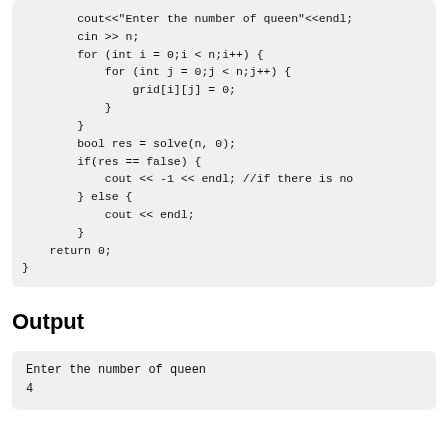cout<<"Enter the number of queen"<<endl;
        cin >> n;
        for (int i = 0;i < n;i++) {
            for (int j = 0;j < n;j++) {
                grid[i][j] = 0;
            }
        }
        bool res = solve(n, 0);
        if(res == false) {
            cout << -1 << endl; //if there is no
        } else {
            cout << endl;
        }
    return 0;
}
Output
Enter the number of queen
4